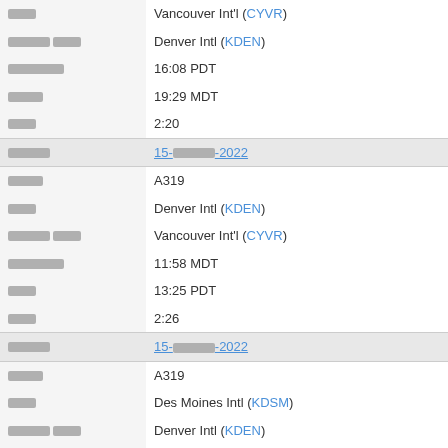| [redacted] | Vancouver Int'l (CYVR) |
| [redacted] [redacted] | Denver Intl (KDEN) |
| [redacted] | 16:08 PDT |
| [redacted] | 19:29 MDT |
| [redacted] | 2:20 |
| [redacted] | 15-[redacted]-2022 |
| [redacted] | A319 |
| [redacted] | Denver Intl (KDEN) |
| [redacted] [redacted] | Vancouver Int'l (CYVR) |
| [redacted] | 11:58 MDT |
| [redacted] | 13:25 PDT |
| [redacted] | 2:26 |
| [redacted] | 15-[redacted]-2022 |
| [redacted] | A319 |
| [redacted] | Des Moines Intl (KDSM) |
| [redacted] [redacted] | Denver Intl (KDEN) |
| [redacted] | 09:39 CDT |
| [redacted] | 10:20 MDT |
| [redacted] | 1:40 |
| [redacted] | 14-[redacted]-2022 |